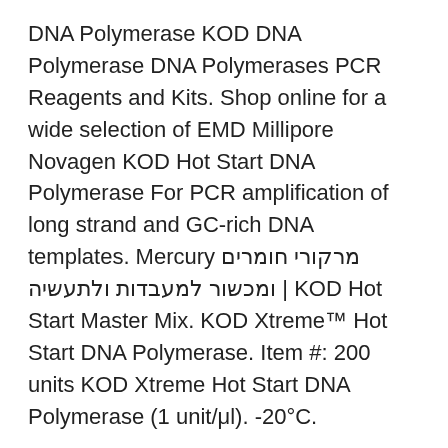DNA Polymerase KOD DNA Polymerase DNA Polymerases PCR Reagents and Kits. Shop online for a wide selection of EMD Millipore Novagen KOD Hot Start DNA Polymerase For PCR amplification of long strand and GC-rich DNA templates. Mercury מרקורי חומרים ומכשור למעבדות ולתעשיה | KOD Hot Start Master Mix. KOD Xtreme™ Hot Start DNA Polymerase. Item #: 200 units KOD Xtreme Hot Start DNA Polymerase (1 unit/μl). -20°C.
Lediga jobb billackerare stockholm
Stefan lofven tal till nationen
Kvalificerad övertid kommunal helg
Index 500 fund